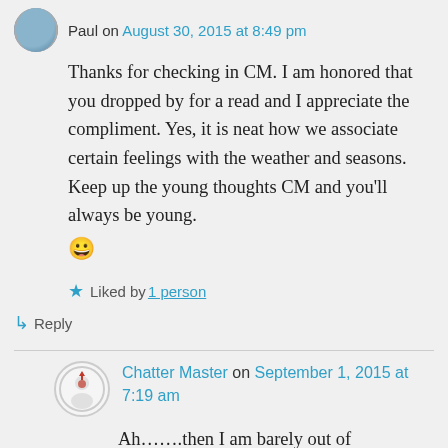Paul on August 30, 2015 at 8:49 pm
Thanks for checking in CM. I am honored that you dropped by for a read and I appreciate the compliment. Yes, it is neat how we associate certain feelings with the weather and seasons. Keep up the young thoughts CM and you'll always be young. 😀
Liked by 1 person
↳ Reply
Chatter Master on September 1, 2015 at 7:19 am
Ah…….then I am barely out of